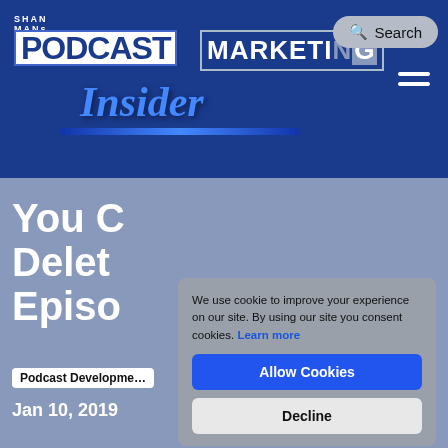[Figure (logo): ShanMans Podcast Marketing Insider logo on dark blue banner background with search button and hamburger menu]
You C… Delet… Episo…
Podcast Development
Jan 10, 2019
We use cookie to improve your experience on our site. By using our site you consent cookies. Learn more
Allow Cookies
Decline